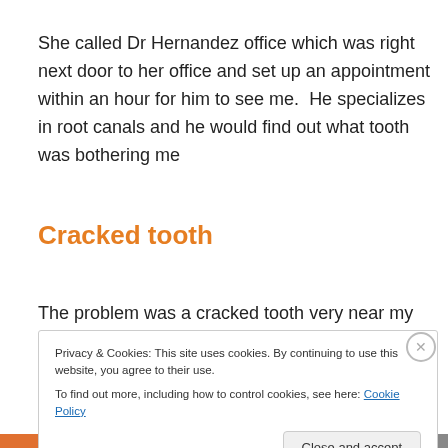She called Dr Hernandez office which was right next door to her office and set up an appointment within an hour for him to see me.  He specializes in root canals and he would find out what tooth was bothering me
Cracked tooth
The problem was a cracked tooth very near my missing
Privacy & Cookies: This site uses cookies. By continuing to use this website, you agree to their use.
To find out more, including how to control cookies, see here: Cookie Policy